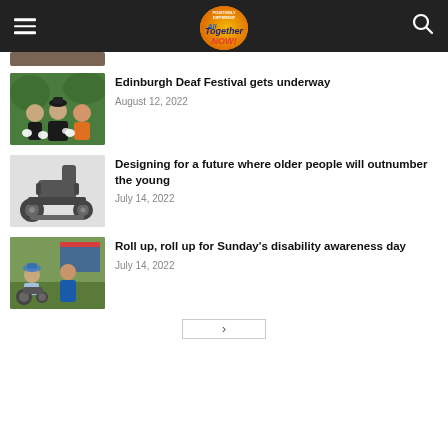All Together Now — Positively Different
[Figure (photo): Partial view of a previous article thumbnail at the top of the page]
Edinburgh Deaf Festival gets underway
August 12, 2022
[Figure (photo): Photo of people at Edinburgh Deaf Festival — a man in a black hat and two women, one wearing white gloves]
Designing for a future where older people will outnumber the young
July 14, 2022
[Figure (photo): Photo of a mobility scooter or disability chair on white background]
Roll up, roll up for Sunday's disability awareness day
July 14, 2022
[Figure (photo): Photo of outdoor disability awareness event with people in wheelchairs]
Pagination navigation button